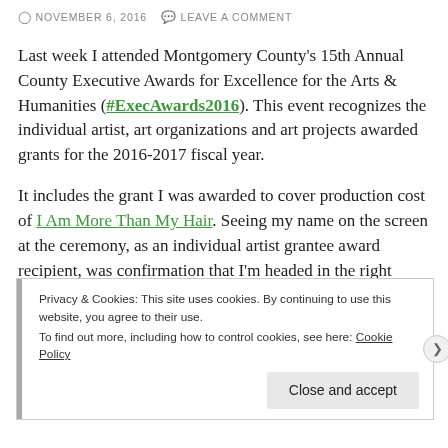NOVEMBER 6, 2016   LEAVE A COMMENT
Last week I attended Montgomery County's 15th Annual County Executive Awards for Excellence for the Arts & Humanities (#ExecAwards2016). This event recognizes the individual artist, art organizations and art projects awarded grants for the 2016-2017 fiscal year.
It includes the grant I was awarded to cover production cost of I Am More Than My Hair. Seeing my name on the screen at the ceremony, as an individual artist grantee award recipient, was confirmation that I'm headed in the right direction.
Privacy & Cookies: This site uses cookies. By continuing to use this website, you agree to their use.
To find out more, including how to control cookies, see here: Cookie Policy
Close and accept